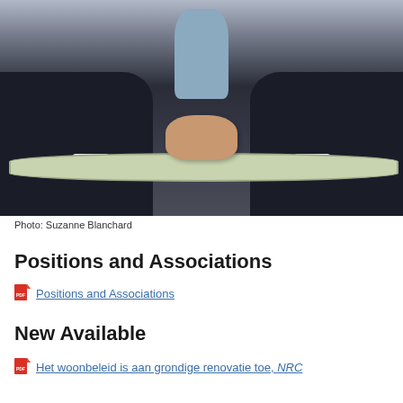[Figure (photo): A man in a dark suit with clasped hands resting on a light green oval table, wearing a light blue shirt. Photographed from chest down.]
Photo: Suzanne Blanchard
Positions and Associations
Positions and Associations
New Available
Het woonbeleid is aan grondige renovatie toe, NRC